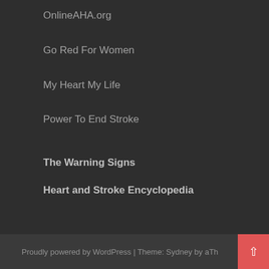OnlineAHA.org
Go Red For Women
My Heart My Life
Power To End Stroke
The Warning Signs
Heart and Stroke Encyclopedia
Proudly powered by WordPress | Theme: Sydney by aTh